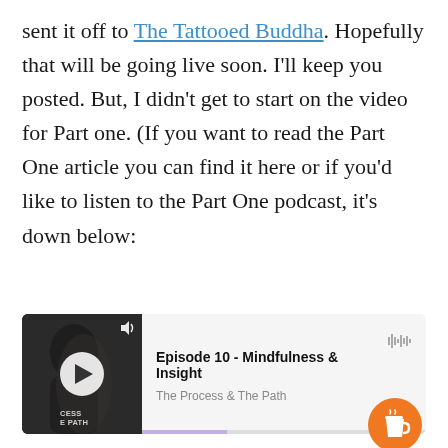sent it off to The Tattooed Buddha. Hopefully that will be going live soon. I'll keep you posted. But, I didn't get to start on the video for Part one. (If you want to read the Part One article you can find it here or if you'd like to listen to the Part One podcast, it's down below:
[Figure (screenshot): Podcast player widget showing Episode 10 - Mindfulness & Insight from The Process & The Path podcast. Left side shows a thumbnail with a play button and a face silhouette. Right side shows episode title and podcast name with a waveform icon. An orange coffee cup button overlays the bottom right. A purple progress bar is visible at the bottom.]